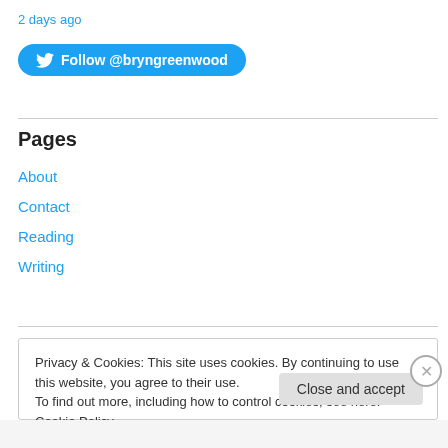2 days ago
[Figure (other): Twitter Follow button for @bryngreenwood]
About
Contact
Reading
Writing
Pages
Privacy & Cookies: This site uses cookies. By continuing to use this website, you agree to their use.
To find out more, including how to control cookies, see here: Cookie Policy
Close and accept